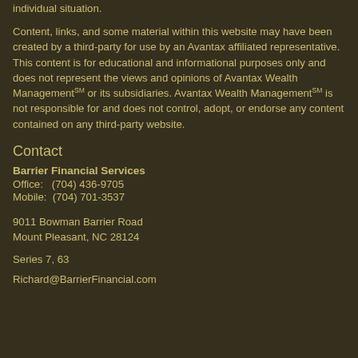consult legal or tax professionals for specific information regarding your individual situation.
Content, links, and some material within this website may have been created by a third-party for use by an Avantax affiliated representative. This content is for educational and informational purposes only and does not represent the views and opinions of Avantax Wealth ManagementSM or its subsidiaries. Avantax Wealth ManagementSM is not responsible for and does not control, adopt, or endorse any content contained on any third-party website.
Contact
Barrier Financial Services
Office:   (704) 436-9705
Mobile:  (704) 701-3537
9011 Bowman Barrier Road
Mount Pleasant, NC 28124
Series 7, 63
Richard@BarrierFinancial.com